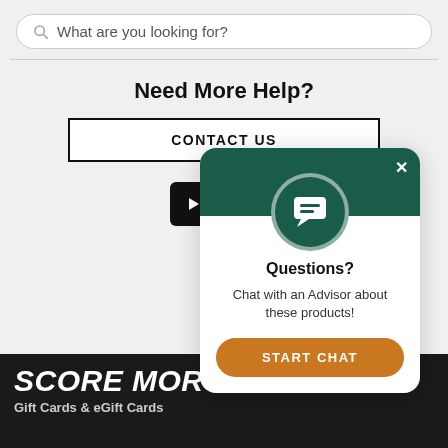What are you looking for?
Need More Help?
CONTACT US
[Figure (screenshot): Social media icons: YouTube and Twitter in black rounded square boxes]
[Figure (screenshot): Chat popup with dark green header, chat icon, text 'Questions? Chat with an Advisor about these products!' and orange START CHAT button]
SCORE MOR
Gift Cards & eGift Cards